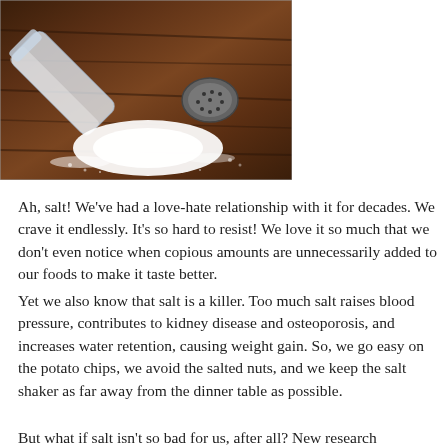[Figure (photo): A glass salt shaker tipped on its side on a dark wooden surface, with a pile of white salt spilled out and the metal cap lying separately nearby.]
Ah, salt!  We've had a love-hate relationship with it for decades.  We crave it endlessly.  It's so hard to resist!  We love it so much that we don't even notice when copious amounts are unnecessarily added to our foods to make it taste better.
Yet we also know that salt is a killer.  Too much salt raises blood pressure, contributes to kidney disease and osteoporosis, and increases water retention, causing weight gain.   So, we go easy on the potato chips, we avoid the salted nuts, and we keep the salt shaker as far away from the dinner table as possible.
But what if salt isn't so bad for us, after all?  New research